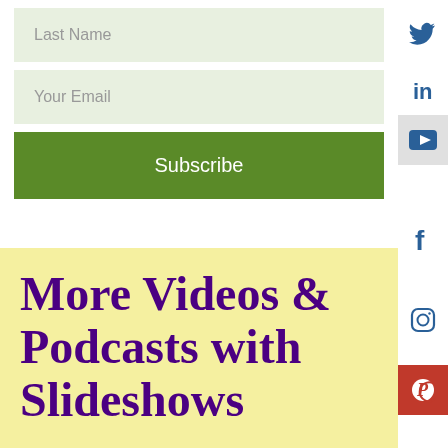Last Name
Your Email
Subscribe
More Videos & Podcasts with Slideshows